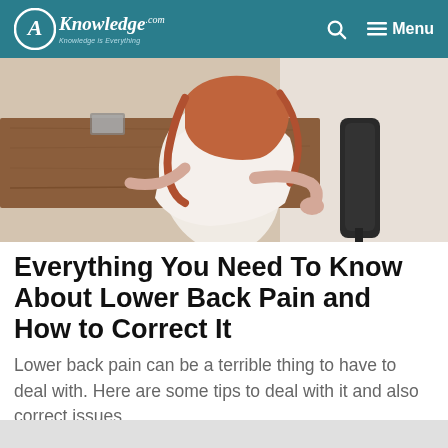AKnowledge.com — Knowledge is Everything | Search | Menu
[Figure (photo): Overhead view of a woman with long red hair sitting at a wooden desk, leaning forward and holding her lower back in pain, with a black chair nearby on a light floor]
Everything You Need To Know About Lower Back Pain and How to Correct It
Lower back pain can be a terrible thing to have to deal with. Here are some tips to deal with it and also correct issues